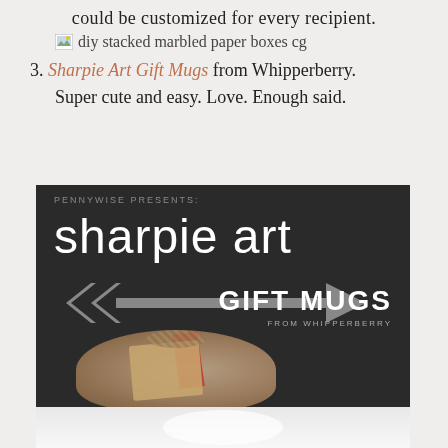could be customized for every recipient.
[Figure (photo): Broken image icon followed by text: diy stacked marbled paper boxes cg]
3. Sharpie Art Gift Mugs from Whipperberry.
Super cute and easy. Love. Enough said.
[Figure (photo): Dark chalkboard-style promotional image for Sharpie Art Gift Mugs from Whipperberry, with arrow graphic and mug photo]